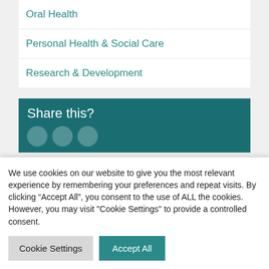Oral Health
Personal Health & Social Care
Research & Development
Share this?
We use cookies on our website to give you the most relevant experience by remembering your preferences and repeat visits. By clicking “Accept All”, you consent to the use of ALL the cookies. However, you may visit "Cookie Settings" to provide a controlled consent.